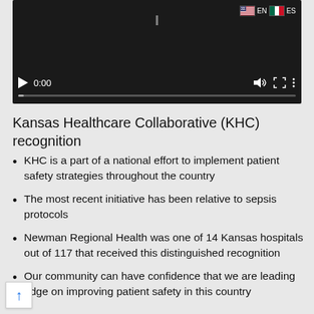[Figure (screenshot): Video player with dark background showing playback controls: play button, time display 0:00, volume icon, fullscreen icon, more options icon, and a progress bar. Language selector showing EN (US flag) and ES (Mexican flag) in top right corner.]
Kansas Healthcare Collaborative (KHC) recognition
KHC is a part of a national effort to implement patient safety strategies throughout the country
The most recent initiative has been relative to sepsis protocols
Newman Regional Health was one of 14 Kansas hospitals out of 117 that received this distinguished recognition
Our community can have confidence that we are leading edge on improving patient safety in this country